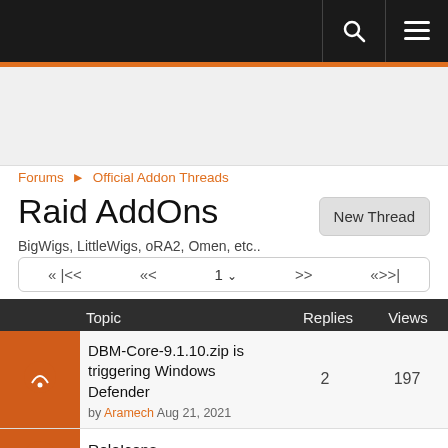Navigation bar with search and menu icons
Forums ► Official Addon Threads
Raid AddOns
BigWigs, LittleWigs, oRA2, Omen, etc..
« |<< «< 1 ∨ >> «>>|
|  | Topic | Replies | Views |
| --- | --- | --- | --- |
| [icon] | DBM-Core-9.1.10.zip is triggering Windows Defender
by Aramech Aug 21, 2021 | 2 | 197 |
| [icon] | RoleIcons | 3 | 4853 |